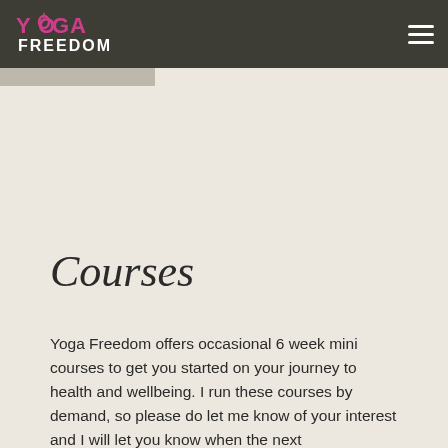YOGA FREEDOM
Courses
Yoga Freedom offers occasional 6 week mini courses to get you started on your journey to health and wellbeing. I run these courses by demand, so please do let me know of your interest and I will let you know when the next